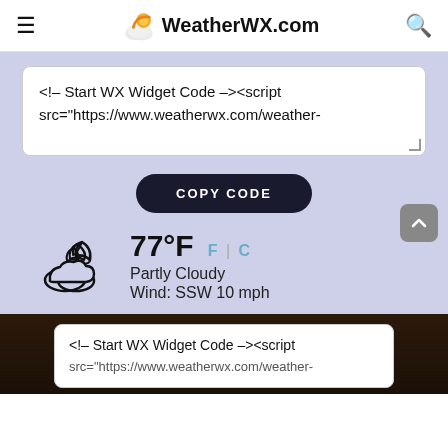WeatherWX.com
<!-- Start WX Widget Code --><script src="https://www.weatherwx.com/weather-
COPY CODE
[Figure (illustration): Partly cloudy night weather icon with moon and cloud outline]
77°F  F | C
Partly Cloudy
Wind: SSW 10 mph
<!-- Start WX Widget Code --><script